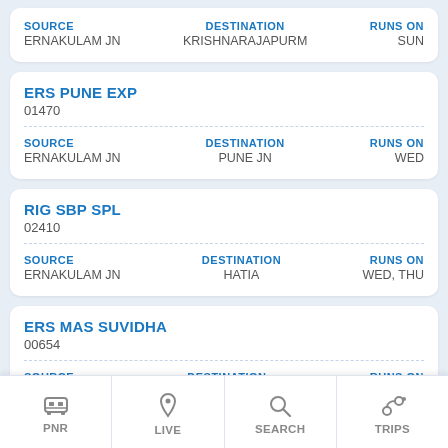| SOURCE | DESTINATION | RUNS ON |
| --- | --- | --- |
| ERNAKULAM JN | KRISHNARAJAPURM | SUN |
ERS PUNE EXP
01470
| SOURCE | DESTINATION | RUNS ON |
| --- | --- | --- |
| ERNAKULAM JN | PUNE JN | WED |
RIG SBP SPL
02410
| SOURCE | DESTINATION | RUNS ON |
| --- | --- | --- |
| ERNAKULAM JN | HATIA | WED, THU |
ERS MAS SUVIDHA
00654
| SOURCE | DESTINATION | RUNS ON |
| --- | --- | --- |
| ERNAKULAM JN | CHENNAI CENTRAL | TUE, THU, SUN |
ERS ... SF SPL
026...
PNR
LIVE
SEARCH
TRIPS